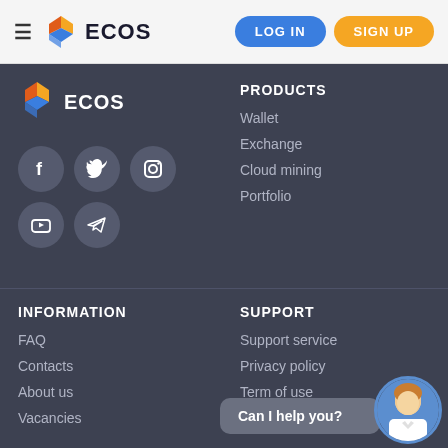ECOS — LOG IN | SIGN UP
[Figure (logo): ECOS logo with orange and blue geometric icon and text 'ECOS' in footer]
[Figure (illustration): Social media icons: Facebook, Twitter, Instagram, YouTube, Telegram]
PRODUCTS
Wallet
Exchange
Cloud mining
Portfolio
INFORMATION
FAQ
Contacts
About us
Vacancies
SUPPORT
Support service
Privacy policy
Can I help you?
Term of use